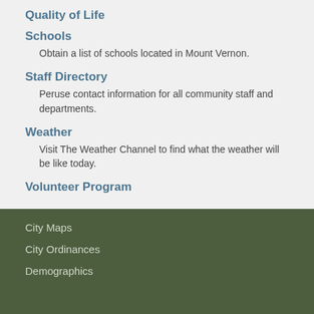Quality of Life
Schools
Obtain a list of schools located in Mount Vernon.
Staff Directory
Peruse contact information for all community staff and departments.
Weather
Visit The Weather Channel to find what the weather will be like today.
Volunteer Program
City Maps
City Ordinances
Demographics